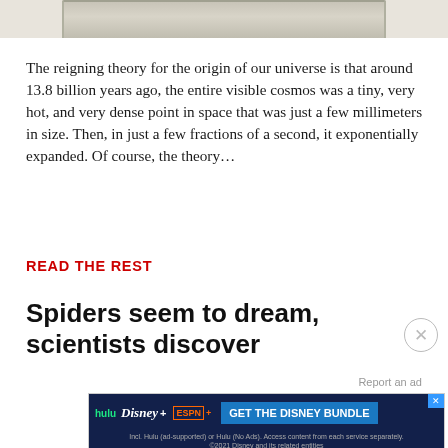[Figure (photo): Partial image of an artifact or object at the top of the page, showing the bottom edge of what appears to be a decorative or scientific object against a light background.]
The reigning theory for the origin of our universe is that around 13.8 billion years ago, the entire visible cosmos was a tiny, very hot, and very dense point in space that was just a few millimeters in size. Then, in just a few fractions of a second, it exponentially expanded. Of course, the theory...
READ THE REST
Spiders seem to dream, scientists discover
Report an ad
[Figure (screenshot): Advertisement banner for the Disney Bundle featuring Hulu, Disney+, and ESPN+ logos with a blue 'GET THE DISNEY BUNDLE' call-to-action button. Fine print reads: Incl. Hulu (ad-supported) or Hulu (No Ads). Access content from each service separately. ©2021 Disney and its related entities]